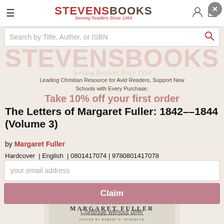STEVENSBOOKS — Serving Readers Since 1954
Search by Title, Author, or ISBN
[Figure (logo): Stevens Books watermark logo overlay with tagline Serving Readers Since 1954]
Leading Christian Resource for Avid Readers, Support New Schools with Every Purchase.
Take 10% off your first order
The Letters of Margaret Fuller: 1842–1844 (Volume 3)
by Margaret Fuller
Hardcover | English | 0801417074 | 9780801417078
your email address
Claim
Continue without offer
[Figure (photo): Book cover of The Letters of Margaret Fuller Volume III: 1842-44, edited by Robert N. Hudspeth]